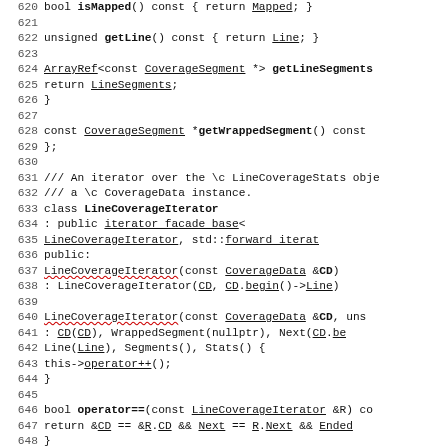Code listing lines 620-650, C++ source for LineCoverageIterator class